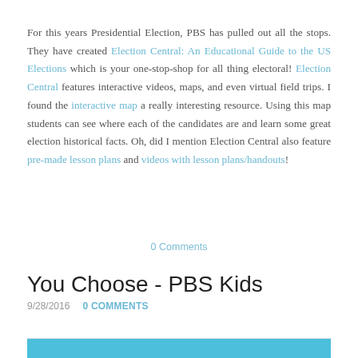For this years Presidential Election, PBS has pulled out all the stops. They have created Election Central: An Educational Guide to the US Elections which is your one-stop-shop for all thing electoral! Election Central features interactive videos, maps, and even virtual field trips. I found the interactive map a really interesting resource. Using this map students can see where each of the candidates are and learn some great election historical facts. Oh, did I mention Election Central also feature pre-made lesson plans and videos with lesson plans/handouts!
0 Comments
You Choose - PBS Kids
9/28/2016   0 COMMENTS
[Figure (other): Bottom portion of a blue banner/image, partially visible at the bottom of the page]